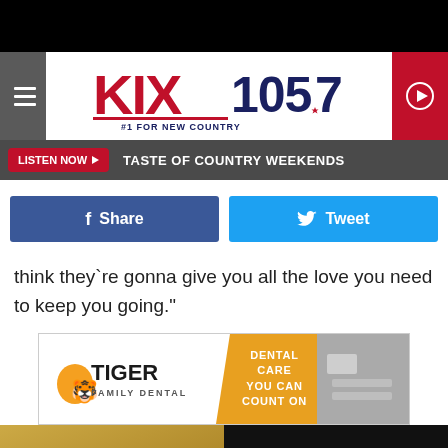[Figure (logo): KIX 105.7 #1 For New Country radio station logo in red and blue with star]
LISTEN NOW ▶  TASTE OF COUNTRY WEEKENDS
[Figure (screenshot): Facebook Share button and Twitter Tweet button]
think they`re gonna give you all the love you need to keep you going."
[Figure (other): Tiger Family Dental advertisement - Dental Care You Can Count On]
[Figure (photo): Suzy Bogguss album art on the left and another album called Somewhere Between on the right]